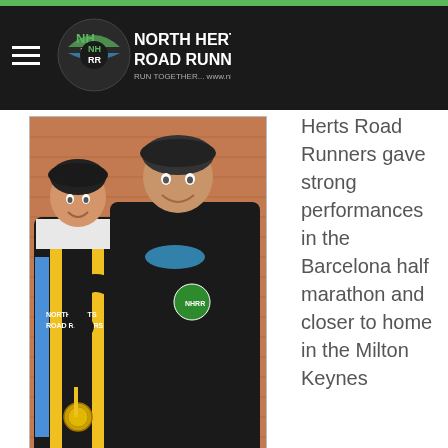North Herts Road Runners — RUN TOGETHER... www.nhrr.org.uk
[Figure (photo): Andy and Michelle Grudzinski posing together. Andy wears a North Herts Road Runners vest with a medal; Michelle wears a dark hoodie with a green badge.]
Andy and Michelle Grudzinski
Herts Road Runners gave strong performances in the Barcelona half marathon and closer to home in the Milton Keynes Winter Warmer 10K,
As the UK suffered another wet and wild weekend being battered by Storm Dennis, and countless races and Parkruns were again called off due to the extreme weather, two squirrels wisely seemed to run in sunnier climes